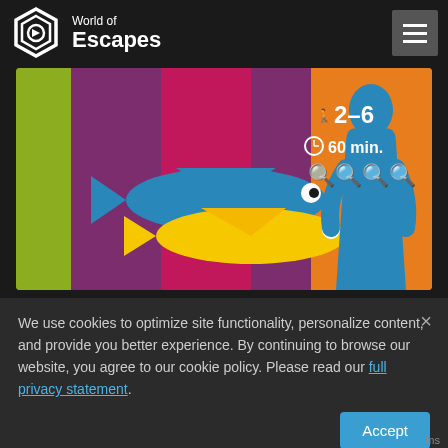[Figure (logo): World of Escapes logo with hexagonal icon and text]
[Figure (illustration): Colorful escape room illustration: two cartoon fish (blue and yellow) swimming in front of a purple/magenta background with orange border, and a blue silhouette of a person on the right side. Info icons: 2-6 players, 60 min., difficulty icons.]
We use cookies to optimize site functionality, personalize content, and provide you better experience. By continuing to browse our website, you agree to our cookie policy. Please read our full privacy statement.